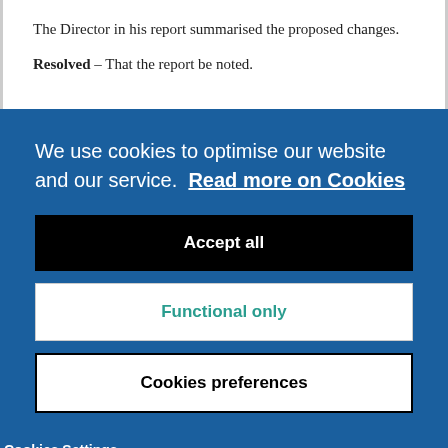The Director in his report summarised the proposed changes.
Resolved – That the report be noted.
We use cookies to optimise our website and our service.  Read more on Cookies
Accept all
Functional only
Cookies preferences
Cookies Settings